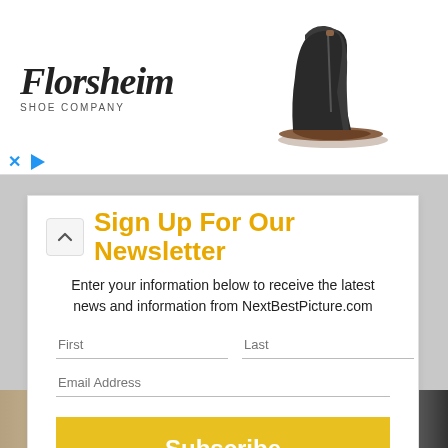[Figure (other): Florsheim Shoe Company advertisement banner with logo on left and black ankle boot on right]
Sign Up For Our Newsletter
Enter your information below to receive the latest news and information from NextBestPicture.com
[Figure (other): Newsletter signup form with First, Last, Email Address fields and Subscribe button]